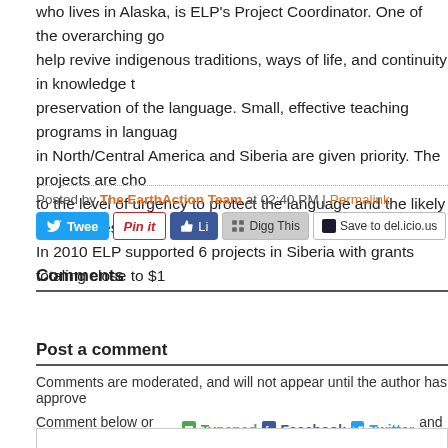who lives in Alaska, is ELP's Project Coordinator. One of the overarching go help revive indigenous traditions, ways of life, and continuity in knowledge t preservation of the language. Small, effective teaching programs in languag in North/Central America and Siberia are given priority. The projects are cho to the level of urgency to protect the language and the likely effectiveness o In 2010 ELP supported 6 projects in Siberia with grants totaling close to $1
Posted by The EarthAction Team at 02:40 PM | Permalink
[Figure (screenshot): Social sharing buttons: Tweet, Pin it, Like, Digg This, Save to del.icio.us]
Comments
Post a comment
Comments are moderated, and will not appear until the author has approve
Comment below or sign in with Typepad Facebook Twitter and m